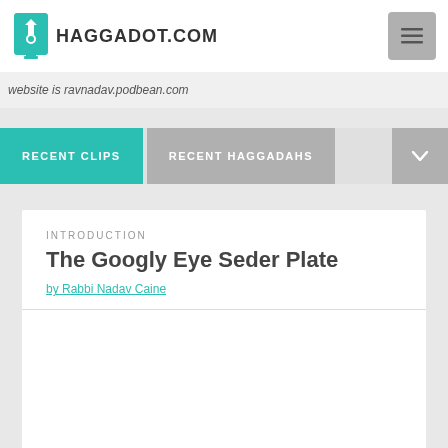HAGGADOT.COM
website is ravnadav.podbean.com
RECENT CLIPS
RECENT HAGGADAHS
INTRODUCTION
The Googly Eye Seder Plate
by Rabbi Nadav Caine